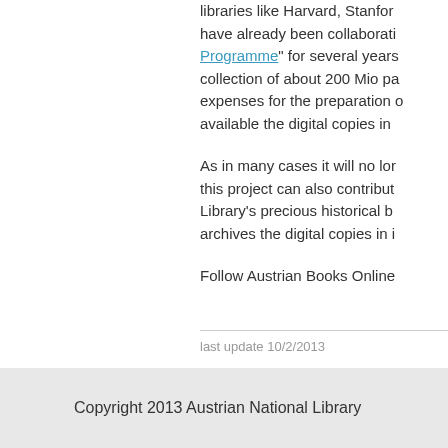libraries like Harvard, Stanford, have already been collaborating with the Programme" for several years. With a collection of about 200 Mio pages, the expenses for the preparation of making available the digital copies in ...
As in many cases it will no longer ... this project can also contribute to the Library's precious historical books ... archives the digital copies in its ...
Follow Austrian Books Online ...
last update 10/2/2013
Copyright 2013 Austrian National Library